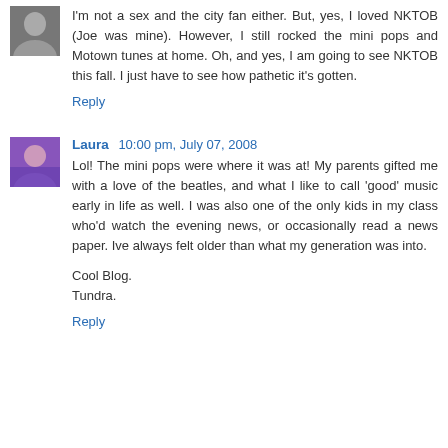I'm not a sex and the city fan either. But, yes, I loved NKTOB (Joe was mine). However, I still rocked the mini pops and Motown tunes at home. Oh, and yes, I am going to see NKTOB this fall. I just have to see how pathetic it's gotten.
Reply
Laura 10:00 pm, July 07, 2008
Lol! The mini pops were where it was at! My parents gifted me with a love of the beatles, and what I like to call 'good' music early in life as well. I was also one of the only kids in my class who'd watch the evening news, or occasionally read a news paper. Ive always felt older than what my generation was into.

Cool Blog.
Tundra.
Reply